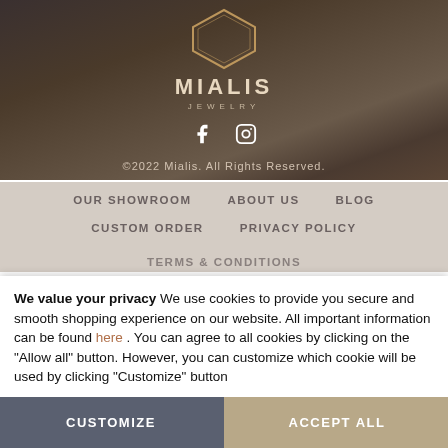[Figure (logo): Mialis Jewelry logo with hexagon shape and social media icons (Facebook, Instagram), dark background photo of jewelry, copyright text]
©2022 Mialis. All Rights Reserved.
OUR SHOWROOM
ABOUT US
BLOG
CUSTOM ORDER
PRIVACY POLICY
TERMS & CONDITIONS
We value your privacy We use cookies to provide you secure and smooth shopping experience on our website. All important information can be found here . You can agree to all cookies by clicking on the "Allow all" button. However, you can customize which cookie will be used by clicking "Customize" button
CUSTOMIZE
ACCEPT ALL